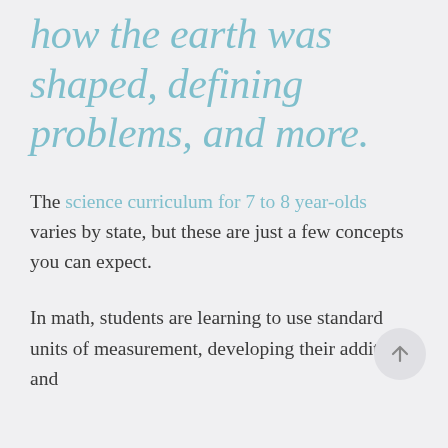how the earth was shaped, defining problems, and more.
The science curriculum for 7 to 8 year-olds varies by state, but these are just a few concepts you can expect.
In math, students are learning to use standard units of measurement, developing their addition and